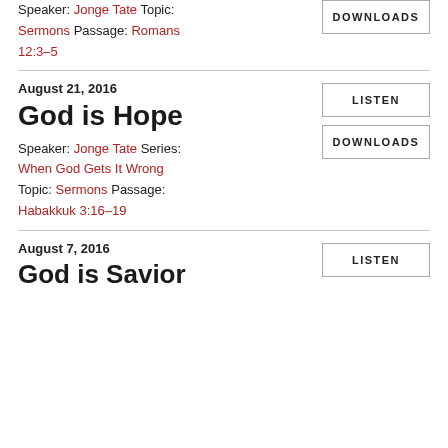Speaker: Jonge Tate Topic: Sermons Passage: Romans 12:3–5
DOWNLOADS
August 21, 2016
God is Hope
Speaker: Jonge Tate Series: When God Gets It Wrong Topic: Sermons Passage: Habakkuk 3:16–19
LISTEN
DOWNLOADS
August 7, 2016
God is Savior
LISTEN